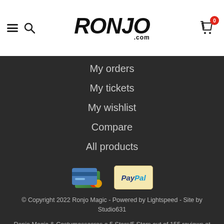Ronjo .com — website header with hamburger, search, logo, and cart (0)
My orders
My tickets
My wishlist
Compare
All products
[Figure (logo): Credit card and PayPal payment icons]
© Copyright 2022 Ronjo Magic - Powered by Lightspeed - Site by Studio631
Ronjo Magic & Costumesscores a 5 Stars/5 Stars out of 155 reviews at